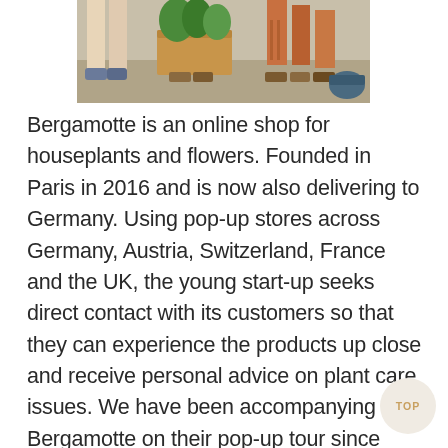[Figure (photo): Partial photo showing legs of people standing, one person holding a cardboard box with houseplants, sandals and sneakers visible on the ground]
Bergamotte is an online shop for houseplants and flowers. Founded in Paris in 2016 and is now also delivering to Germany. Using pop-up stores across Germany, Austria, Switzerland, France and the UK, the young start-up seeks direct contact with its customers so that they can experience the products up close and receive personal advice on plant care issues. We have been accompanying Bergamotte on their pop-up tour since 2018 and successfully broker premium